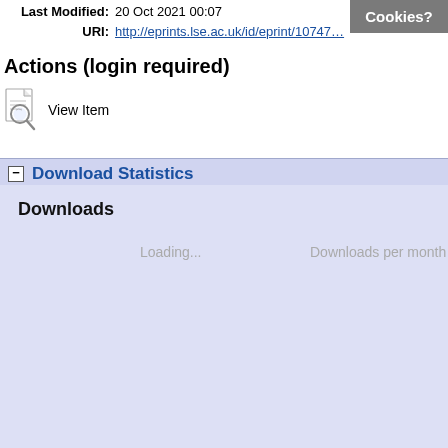Last Modified: 20 Oct 2021 00:07
URI: http://eprints.lse.ac.uk/id/eprint/10747…
Cookies?
Actions (login required)
View Item
− Download Statistics
Downloads
Loading...
Downloads per month over pa…